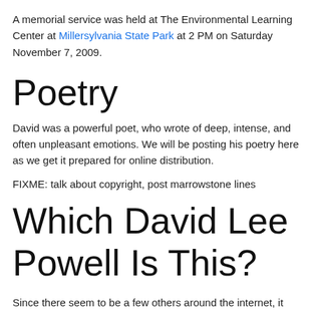A memorial service was held at The Environmental Learning Center at Millersylvania State Park at 2 PM on Saturday November 7, 2009.
Poetry
David was a powerful poet, who wrote of deep, intense, and often unpleasant emotions. We will be posting his poetry here as we get it prepared for online distribution.
FIXME: talk about copyright, post marrowstone lines
Which David Lee Powell Is This?
Since there seem to be a few others around the internet, it